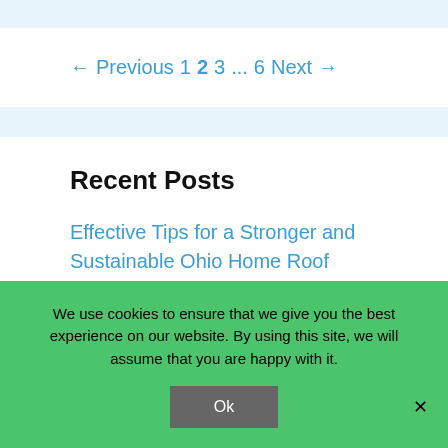← Previous  1  2  3  ...  6  Next →
Recent Posts
Effective Tips for a Stronger and Sustainable Ohio Home Roof
We use cookies to ensure that we give you the best experience on our website. By using this site, we will assume that you are happy with it.
Ok